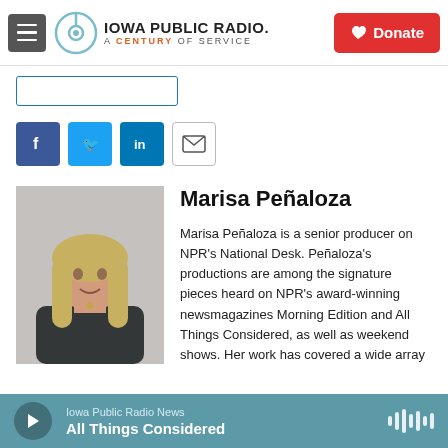Iowa Public Radio. A Century of Service | Donate
[Figure (screenshot): Social sharing buttons: Facebook, Twitter, LinkedIn, Email]
[Figure (photo): Headshot photo of Marisa Peñaloza, a woman with long blonde hair, smiling, wearing a black top.]
Marisa Peñaloza
Marisa Peñaloza is a senior producer on NPR's National Desk. Peñaloza's productions are among the signature pieces heard on NPR's award-winning newsmagazines Morning Edition and All Things Considered, as well as weekend shows. Her work has covered a wide array
Iowa Public Radio News — All Things Considered